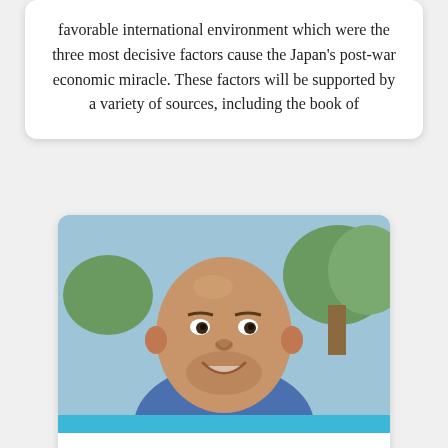favorable international environment which were the three most decisive factors cause the Japan's post-war economic miracle. These factors will be supported by a variety of sources, including the book of
[Figure (photo): Portrait photo of a smiling bald man with short beard wearing a blue plaid shirt, outdoors with trees in background. A cyan/teal horizontal bar appears below the photo.]
The Japanese economic system,